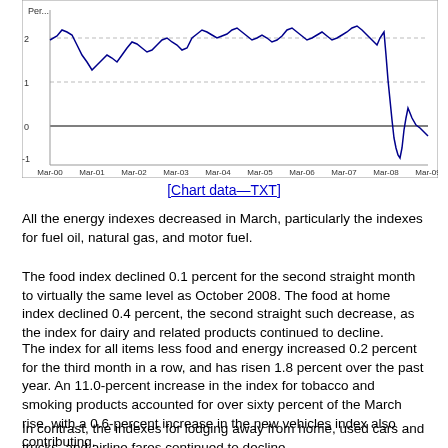[Figure (continuous-plot): Line chart showing percentage change over time from Mar-00 to Mar-09. Y-axis labeled 'Per...' ranges from -1 to 2+. The line fluctuates around 2 from 2000-2007, then drops sharply near Mar-08 to Mar-09, reaching below -1.]
[Chart data—TXT]
All the energy indexes decreased in March, particularly the indexes for fuel oil, natural gas, and motor fuel.
The food index declined 0.1 percent for the second straight month to virtually the same level as October 2008. The food at home index declined 0.4 percent, the second straight such decrease, as the index for dairy and related products continued to decline.
The index for all items less food and energy increased 0.2 percent for the third month in a row, and has risen 1.8 percent over the past year. An 11.0-percent increase in the index for tobacco and smoking products accounted for over sixty percent of the March rise, with a 0.6-percent increase in the new vehicles index also contributing.
In contrast, the indexes for lodging away from home, used cars and trucks, and airline fares continued to decline.